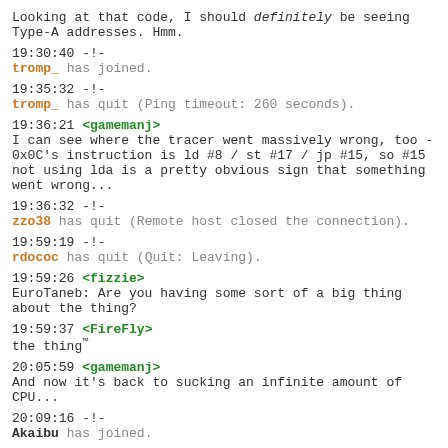Looking at that code, I should definitely be seeing Type-A addresses. Hmm.
19:30:40 -!- tromp_ has joined.
19:35:32 -!- tromp_ has quit (Ping timeout: 260 seconds).
19:36:21 <gamemanj> I can see where the tracer went massively wrong, too - 0x0C's instruction is ld #8 / st #17 / jp #15, so #15 not using lda is a pretty obvious sign that something went wrong...
19:36:32 -!- zzo38 has quit (Remote host closed the connection).
19:59:19 -!- rdococ has quit (Quit: Leaving).
19:59:26 <fizzie> EuroTaneb: Are you having some sort of a big thing about the thing?
19:59:37 <FireFly> the thing™
20:05:59 <gamemanj> And now it's back to sucking an infinite amount of CPU...
20:09:16 -!- Akaibu has joined.